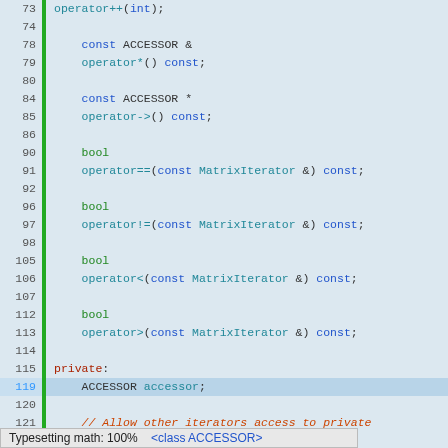[Figure (screenshot): Source code viewer showing C++ class MatrixIterator header file lines 73-128, with line numbers, green vertical bar, syntax highlighting in blue/teal/green/red colors on light blue background. Shows operator definitions (operator++, operator*, operator->, operator==, operator!=, operator<, operator>), private section with ACCESSOR member, comment about allowing other iterators access to private data, template and friend class declarations, and closing brace. Lines 119 and 123 are highlighted. Bottom shows status bar with 'Typesetting math: 100%' and '<class ACCESSOR>' in blue.]